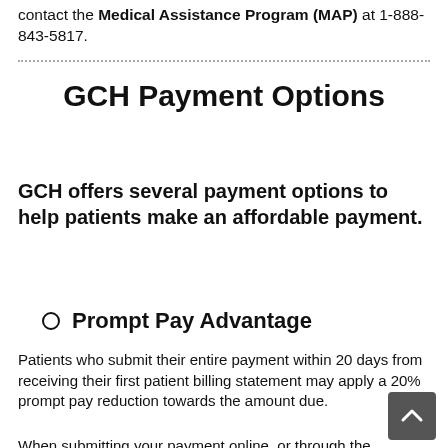contact the Medical Assistance Program (MAP) at 1-888-843-5817.
GCH Payment Options
GCH offers several payment options to help patients make an affordable payment.
Prompt Pay Advantage
Patients who submit their entire payment within 20 days from receiving their first patient billing statement may apply a 20% prompt pay reduction towards the amount due.
When submitting your payment online, or through the